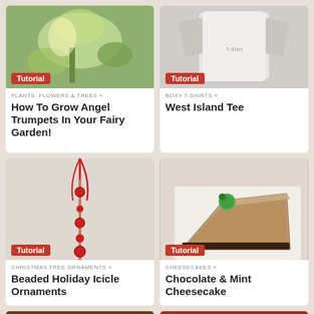[Figure (photo): Plant/flower image with angel trumpet in a garden, with a red Tutorial badge]
PLANTS, FLOWERS & TREES »
How To Grow Angel Trumpets In Your Fairy Garden!
[Figure (photo): Boxy t-shirt product photo with a red Tutorial badge]
BOXY T-SHIRTS »
West Island Tee
[Figure (photo): Beaded holiday icicle ornament with red beads and red ribbon on light background, with a red Tutorial badge]
CHRISTMAS TREE ORNAMENTS »
Beaded Holiday Icicle Ornaments
[Figure (photo): Slice of chocolate mint cheesecake on a white plate with a green mint candy on top, with a red Tutorial badge]
CHEESECAKES »
Chocolate & Mint Cheesecake
[Figure (photo): Dark brown glazed meatballs or similar food dish]
[Figure (photo): Tomato dish with mozzarella and fresh basil on a plate]